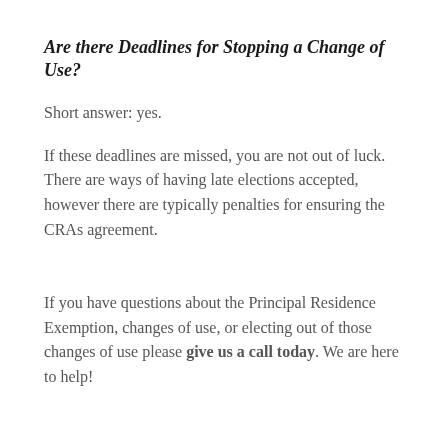Are there Deadlines for Stopping a Change of Use?
Short answer: yes.
If these deadlines are missed, you are not out of luck. There are ways of having late elections accepted, however there are typically penalties for ensuring the CRAs agreement.
If you have questions about the Principal Residence Exemption, changes of use, or electing out of those changes of use please give us a call today. We are here to help!